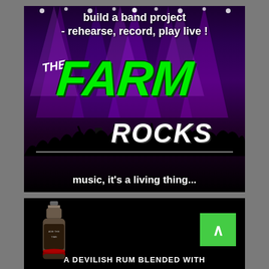[Figure (photo): Concert advertisement for 'The Farm Rocks' music project. Dark background with stage lights and crowd silhouette. Text: 'build a band project - rehearse, record, play live!' at top. Large green graffiti-style 'FARM' logo with white 'THE' and white 'ROCKS' text. Bottom text: 'music, it's a living thing...']
[Figure (photo): Advertisement with black background showing a rum bottle on the left. Green scroll-to-top arrow button on the right. Partial text at bottom: 'A DEVILISH RUM BLENDED WITH']